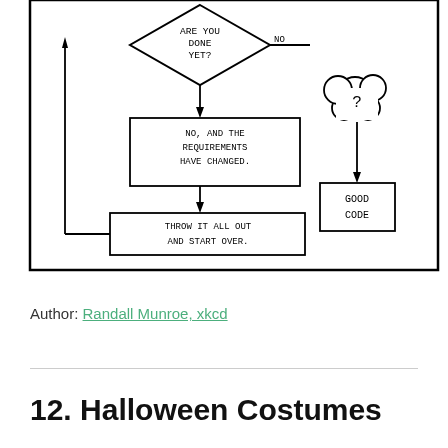[Figure (flowchart): Partial xkcd flowchart comic showing a programming cycle. A diamond decision box asks 'ARE YOU DONE YET?' with a 'NO' branch leading to a text box saying 'NO, AND THE REQUIREMENTS HAVE CHANGED.' which leads to a process box 'THROW IT ALL OUT AND START OVER.' with an arrow looping back left. On the right side, a cloud/thought bubble with '?' leads down to a rectangle labeled 'GOOD CODE'.]
Author: Randall Munroe, xkcd
12. Halloween Costumes